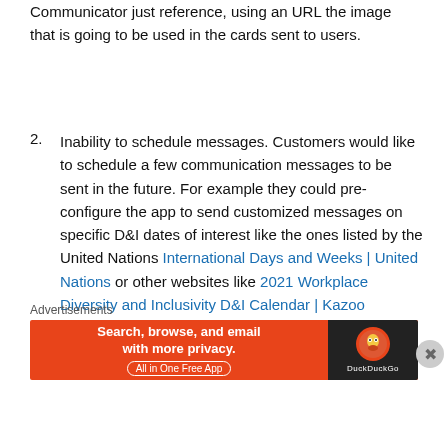Communicator just reference, using an URL the image that is going to be used in the cards sent to users.
Inability to schedule messages. Customers would like to schedule a few communication messages to be sent in the future. For example they could pre-configure the app to send customized messages on specific D&I dates of interest like the ones listed by the United Nations International Days and Weeks | United Nations or other websites like 2021 Workplace Diversity and Inclusivity D&I Calendar | Kazoo (kazoohr.com).
Advertisements
[Figure (infographic): DuckDuckGo advertisement banner: orange background with text 'Search, browse, and email with more privacy. All in One Free App' and DuckDuckGo logo on dark background.]